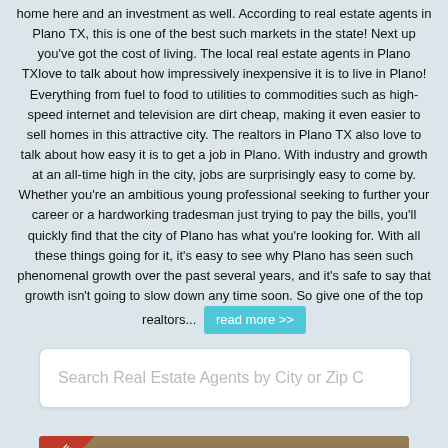home here and an investment as well. According to real estate agents in Plano TX, this is one of the best such markets in the state! Next up you've got the cost of living. The local real estate agents in Plano TXlove to talk about how impressively inexpensive it is to live in Plano! Everything from fuel to food to utilities to commodities such as high-speed internet and television are dirt cheap, making it even easier to sell homes in this attractive city. The realtors in Plano TX also love to talk about how easy it is to get a job in Plano. With industry and growth at an all-time high in the city, jobs are surprisingly easy to come by. Whether you're an ambitious young professional seeking to further your career or a hardworking tradesman just trying to pay the bills, you'll quickly find that the city of Plano has what you're looking for. With all these things going for it, it's easy to see why Plano has seen such phenomenal growth over the past several years, and it's safe to say that growth isn't going to slow down any time soon. So give one of the top realtors...  read more >>
Search Real Estate Agents by City or Zip C
[Figure (photo): Photo strip at bottom of page showing a person, with an ELITE red badge in the top-left corner]